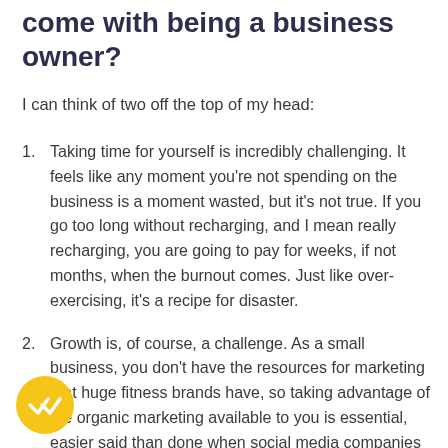come with being a business owner?
I can think of two off the top of my head:
Taking time for yourself is incredibly challenging. It feels like any moment you're not spending on the business is a moment wasted, but it's not true. If you go too long without recharging, and I mean really recharging, you are going to pay for weeks, if not months, when the burnout comes. Just like over-exercising, it's a recipe for disaster.
Growth is, of course, a challenge. As a small business, you don't have the resources for marketing that huge fitness brands have, so taking advantage of the organic marketing available to you is essential, easier said than done when social media companies continue to change how they run their platforms. You have to be constantly evolving